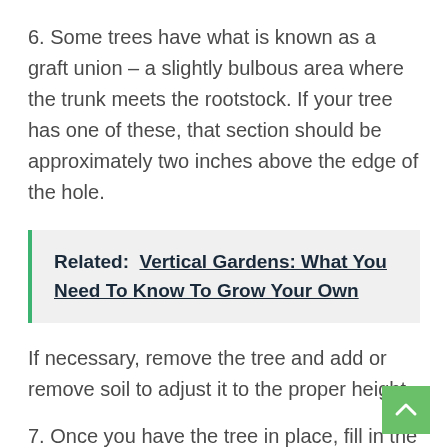6. Some trees have what is known as a graft union – a slightly bulbous area where the trunk meets the rootstock. If your tree has one of these, that section should be approximately two inches above the edge of the hole.
Related: Vertical Gardens: What You Need To Know To Grow Your Own
If necessary, remove the tree and add or remove soil to adjust it to the proper height.
7. Once you have the tree in place, fill in the hole with the soil and tamp it down. The roots...